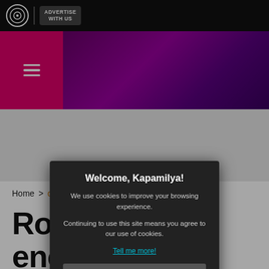ABS-CBN News | ADVERTISE WITH US
[Figure (screenshot): Pink sidebar with hamburger menu icon and purple gradient banner area]
[Figure (screenshot): Gray advertisement placeholder area]
Home > ...Domingo...
Robin enco mo youth and vote: ‘I’m a believer’
Welcome, Kapamilya! We use cookies to improve your browsing experience. Continuing to use this site means you agree to our use of cookies. Tell me more! I AGREE!